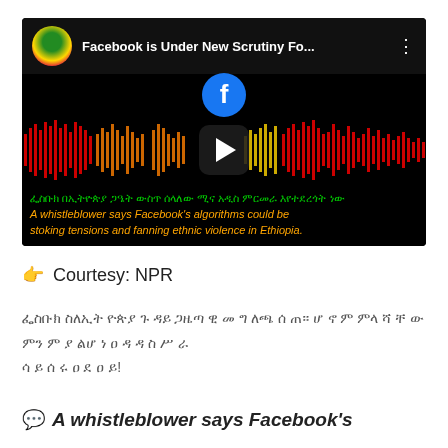[Figure (screenshot): YouTube-style video thumbnail with black background, channel icon, video title 'Facebook is Under New Scrutiny Fo...', Facebook logo, audio waveform visualization in red/orange/yellow colors, play button, Ethiopic text in green and italic English caption in orange about a whistleblower and Facebook algorithms stoking ethnic violence in Ethiopia]
👉 Courtesy: NPR
ፌስቡክ ስለ ኢትዮጵያ ጉዳይ ጋዜጣዊ መግለጫ ሰጠ። ሆኖም ምላሻቸው ምንም ያልሆነ ዐዳዳስ ሥራ ሳይሰሩ ዐደ ዐይ!
💬 A whistleblower says Facebook's